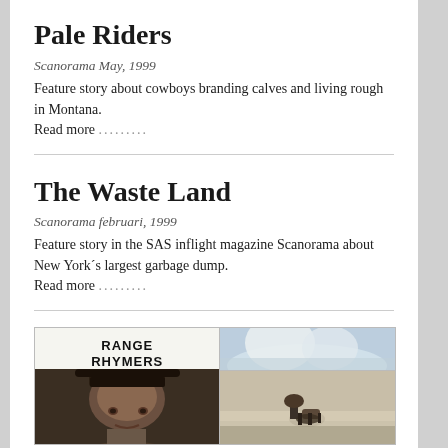Pale Riders
Scanorama May, 1999
Feature story about cowboys branding calves and living rough in Montana.
Read more .........
The Waste Land
Scanorama februari, 1999
Feature story in the SAS inflight magazine Scanorama about New York´s largest garbage dump.
Read more .........
[Figure (photo): Magazine spread showing 'Range Rhymers' title with photo of cowboy face on left panel, and mountain/horseback rider photos on right panel]